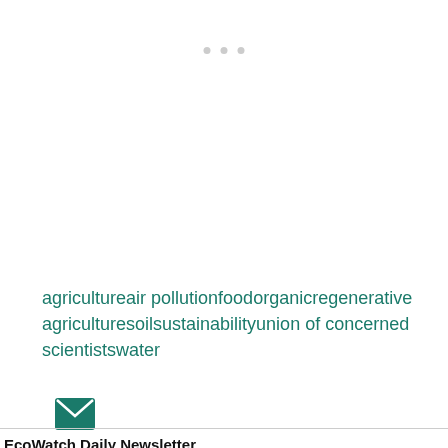[Figure (other): Three small grey dots indicating a pagination or loading indicator, centered near the top of the page in a light grey/white area]
agricultureair pollutionfoodorganicregenerative agriculturesoilsustainabilityunion of concerned scientistswater
[Figure (other): Teal/green envelope icon representing email or newsletter subscription]
EcoWatch Daily Newsletter